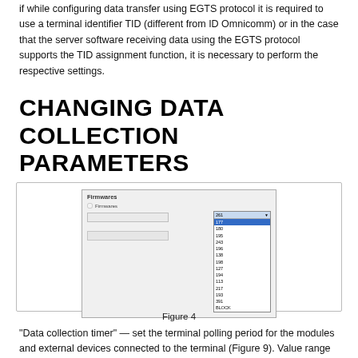if while configuring data transfer using EGTS protocol it is required to use a terminal identifier TID (different from ID Omnicomm) or in the case that the server software receiving data using the EGTS protocol supports the TID assignment function, it is necessary to perform the respective settings.
CHANGING DATA COLLECTION PARAMETERS
[Figure (screenshot): Screenshot of Firmwares configuration window showing a Firmwares panel with a dropdown list containing numeric firmware version values (261, 177, 180, 195, 243, 196, 138, 198, 127, 194, 113, 217, 193, 391, BLOCK). The item 177 (or similar) is highlighted in blue.]
Figure 4
“Data collection timer” — set the terminal polling period for the modules and external devices connected to the terminal (Figure 9). Value range — from 15 to 240 sec. “Collect data when ignition